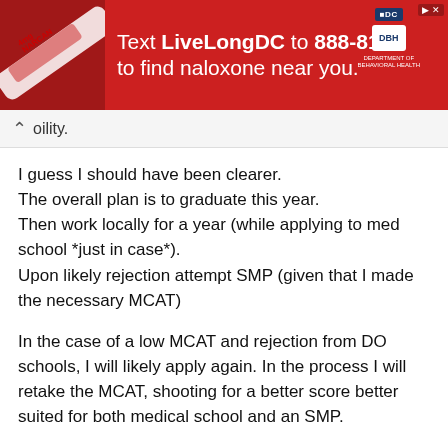[Figure (screenshot): Red advertisement banner: Text LiveLongDC to 888-811 to find naloxone near you. DC and DBH logos visible. Close button in top right.]
oility.
I guess I should have been clearer.
The overall plan is to graduate this year.
Then work locally for a year (while applying to med school *just in case*).
Upon likely rejection attempt SMP (given that I made the necessary MCAT)
In the case of a low MCAT and rejection from DO schools, I will likely apply again. In the process I will retake the MCAT, shooting for a better score better suited for both medical school and an SMP.
Regardless of MCAT performance, I did already have in mind to do a year of full time work after graduation. If you are right and I can't move forward without an SMP, that'll be done the following year after working (and of course after acheiving the necessary